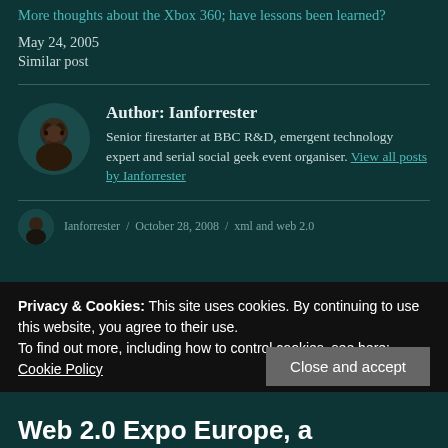More thoughts about the Xbox 360; have lessons been learned?
May 24, 2005
Similar post
Author: Ianforrester
Senior firestarter at BBC R&D, emergent technology expert and serial social geek event organiser. View all posts by Ianforrester
Ianforrester / October 28, 2008 / xml and web 2.0
Privacy & Cookies: This site uses cookies. By continuing to use this website, you agree to their use.
To find out more, including how to control cookies, see here:
Cookie Policy
Close and accept
Web 2.0 Expo Europe, a